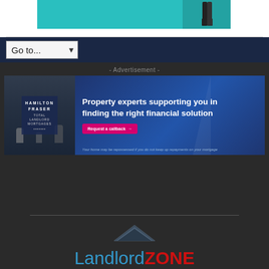[Figure (illustration): Top banner advertisement with teal background showing a partial figure]
[Figure (screenshot): Navigation bar with 'Go to...' dropdown selector on dark navy background]
- Advertisement -
[Figure (illustration): Hamilton Fraser Total Landlord Mortgages advertisement banner. Text reads: 'Property experts supporting you in finding the right financial solution'. Pink button 'Request a callback →'. Disclaimer: 'Your home may be repossessed if you do not keep up repayments on your mortgage']
[Figure (logo): LandlordZONE logo with roof graphic above. 'Landlord' in blue, 'ZONE' in red, tagline 'RENTAL PROPERTY KNOWLEDGE' in blue below]